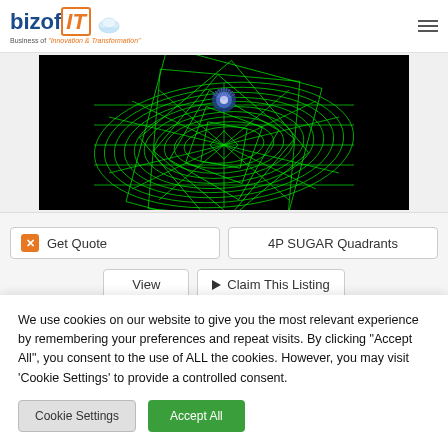[Figure (logo): BizofIT logo with cloud icon and tagline: Business of Innovation & Transformation]
[Figure (photo): Black background with green geometric spiral/mandala pattern and blue center element]
Get Quote
4P SUGAR Quadrants
View
Claim This Listing
We use cookies on our website to give you the most relevant experience by remembering your preferences and repeat visits. By clicking "Accept All", you consent to the use of ALL the cookies. However, you may visit 'Cookie Settings' to provide a controlled consent.
Cookie Settings
Accept All